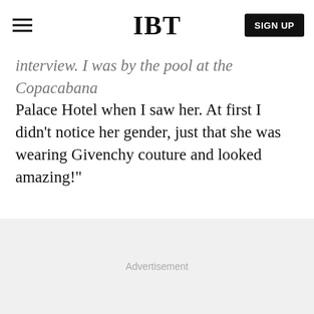IBT
interview. I was by the pool at the Copacabana Palace Hotel when I saw her. At first I didn't notice her gender, just that she was wearing Givenchy couture and looked amazing!"
[Figure (other): Advertisement placeholder area with light gray background]